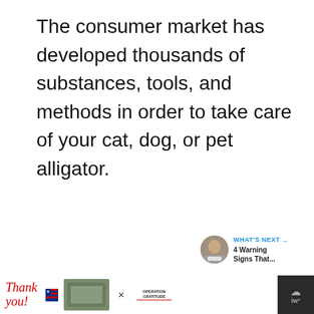The consumer market has developed thousands of substances, tools, and methods in order to take care of your cat, dog, or pet alligator.
[Figure (screenshot): A white image area with three gray dots (loading indicator) in the center. On the right side there is a blue circular like/heart button showing 418 likes, and below it a white circular share button. In the lower right corner is a 'What's Next' panel showing a thumbnail and text '4 Warning Signs That...'. At the bottom is a black ad bar containing a 'Thank you' military appreciation advertisement for Operation Gratitude.]